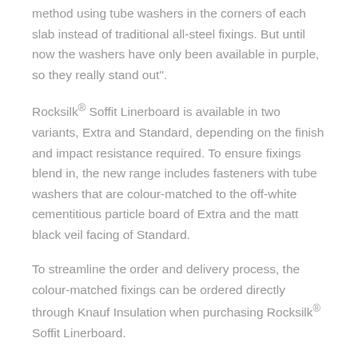method using tube washers in the corners of each slab instead of traditional all-steel fixings. But until now the washers have only been available in purple, so they really stand out".
Rocksilk® Soffit Linerboard is available in two variants, Extra and Standard, depending on the finish and impact resistance required. To ensure fixings blend in, the new range includes fasteners with tube washers that are colour-matched to the off-white cementitious particle board of Extra and the matt black veil facing of Standard.
To streamline the order and delivery process, the colour-matched fixings can be ordered directly through Knauf Insulation when purchasing Rocksilk® Soffit Linerboard.